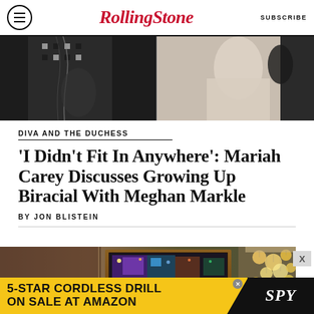RollingStone | SUBSCRIBE
[Figure (photo): Split photo: left side shows a person in black and white patterned outfit; right side shows a person in light/cream colored clothing against a dark background]
DIVA AND THE DUCHESS
'I Didn't Fit In Anywhere': Mariah Carey Discusses Growing Up Biracial With Meghan Markle
BY JON BLISTEIN
[Figure (photo): Interior photo of an upscale hotel lobby or restaurant with a large ornate chandelier and framed artwork on the wall]
[Figure (other): Advertisement banner: 5-STAR CORDLESS DRILL ON SALE AT AMAZON with SPY logo]